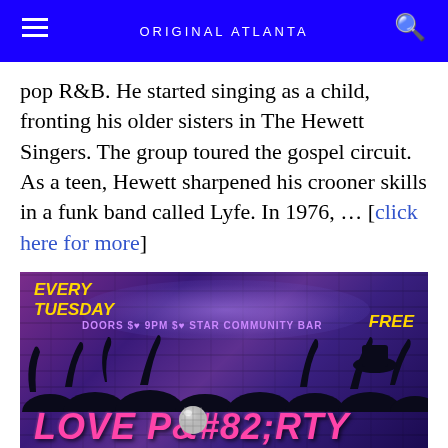ORIGINAL ATLANTA
pop R&amp;B. He started singing as a child, fronting his older sisters in The Hewett Singers. The group toured the gospel circuit. As a teen, Hewett sharpened his crooner skills in a funk band called Lyfe. In 1976, ... [click here for more]
[Figure (photo): Promotional poster for Love Party event: EVERY TUESDAY, DOORS @ 9PM @ STAR COMMUNITY BAR, FREE. Shows silhouetted crowd dancing in front of a purple/blue brick wall with a disco ball and 'LOVE PARTY' text in pink at the bottom.]